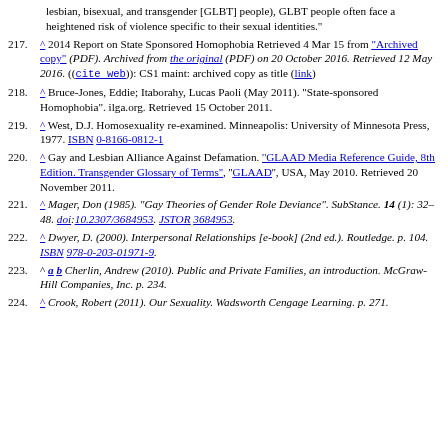lesbian, bisexual, and transgender [GLBT] people), GLBT people often face a heightened risk of violence specific to their sexual identities."
217. ^ 2014 Report on State Sponsored Homophobia Retrieved 4 Mar 15 from "Archived copy" (PDF). Archived from the original (PDF) on 20 October 2016. Retrieved 12 May 2016. ((cite web)): CS1 maint: archived copy as title (link)
218. ^ Bruce-Jones, Eddie; Itaborahy, Lucas Paoli (May 2011). "State-sponsored Homophobia". ilga.org. Retrieved 15 October 2011.
219. ^ West, D.J. Homosexuality re-examined. Minneapolis: University of Minnesota Press, 1977. ISBN 0-8166-0812-1
220. ^ Gay and Lesbian Alliance Against Defamation. ''GLAAD Media Reference Guide, 8th Edition. Transgender Glossary of Terms'', ''GLAAD'', USA, May 2010. Retrieved 20 November 2011.
221. ^ Mager, Don (1985). "Gay Theories of Gender Role Deviance". SubStance. 14 (1): 32–48. doi:10.2307/3684953. JSTOR 3684953.
222. ^ Dwyer, D. (2000). Interpersonal Relationships [e-book] (2nd ed.). Routledge. p. 104. ISBN 978-0-203-01971-9.
223. ^ a b Cherlin, Andrew (2010). Public and Private Families, an introduction. McGraw-Hill Companies, Inc. p. 234.
224. ^ Crook, Robert (2011). Our Sexuality. Wadsworth Cengage Learning. p. 271.